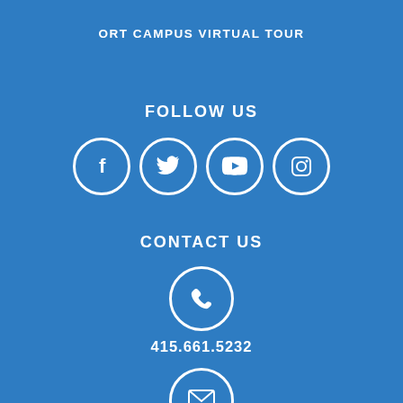ORT CAMPUS VIRTUAL TOUR
FOLLOW US
[Figure (infographic): Four social media icon circles: Facebook, Twitter, YouTube, Instagram]
CONTACT US
[Figure (infographic): Phone icon inside a white circle]
415.661.5232
[Figure (infographic): Email/envelope icon inside a white circle, partially visible at the bottom]